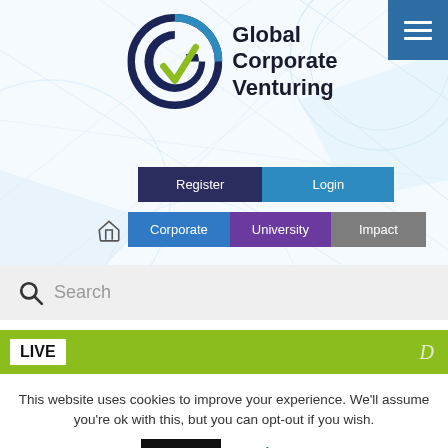[Figure (logo): Global Corporate Venturing logo with circular GCV icon in navy, blue and green, next to text 'Global Corporate Venturing']
[Figure (screenshot): Navigation buttons: Register (dark navy), Login (blue), Corporate (blue), University (purple), Impact (gray)]
Search
LIVE
This website uses cookies to improve your experience. We'll assume you're ok with this, but you can opt-out if you wish.
Accept
Read More